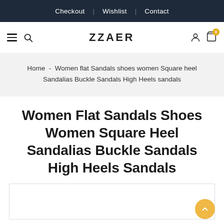Checkout | Wishlist | Contact
ZZAER
Home - Women flat Sandals shoes women Square heel Sandalias Buckle Sandals High Heels sandals
Women Flat Sandals Shoes Women Square Heel Sandalias Buckle Sandals High Heels Sandals
[Figure (photo): Product image area - partially visible at bottom of page]